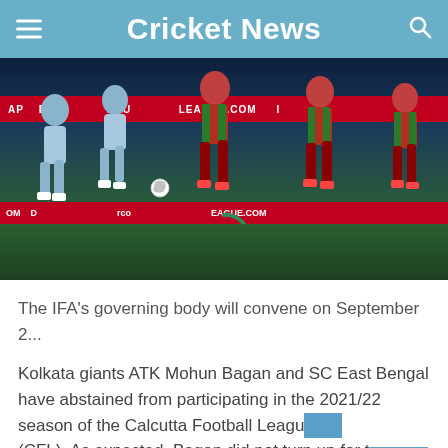Cricket News
[Figure (photo): Football match action photo showing ATK Mohun Bagan players in red and green striped jerseys and SC East Bengal players in light blue jerseys playing on a green pitch at night, with red advertising hoardings visible in the background showing partial text including 'NSU...LEAGUE.COM']
The IFA's governing body will convene on September 2...
Kolkata giants ATK Mohun Bagan and SC East Bengal have abstained from participating in the 2021/22 season of the Calcutta Football League (CFL). As expected, Bagan did not turn up for the CFL opener against George Telegraph on Sunday at